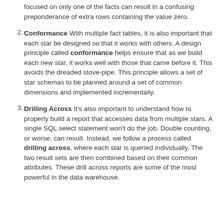focused on only one of the facts can result in a confusing preponderance of extra rows containing the value zero.
Conformance With multiple fact tables, it is also important that each star be designed so that it works with others. A design principle called conformance helps ensure that as we build each new star, it works well with those that came before it. This avoids the dreaded stove-pipe. This principle allows a set of star schemas to be planned around a set of common dimensions and implemented incrementally.
Drilling Across It's also important to understand how to properly build a report that accesses data from multiple stars. A single SQL select statement won't do the job. Double counting, or worse, can result. Instead, we follow a process called drilling across, where each star is queried individually. The two result sets are then combined based on their common attributes. These drill across reports are some of the most powerful in the data warehouse.